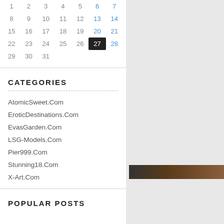| 1 | 2 | 3 | 4 | 5 | 6 | 7 |
| 8 | 9 | 10 | 11 | 12 | 13 | 14 |
| 15 | 16 | 17 | 18 | 19 | 20 | 21 |
| 22 | 23 | 24 | 25 | 26 | 27 | 28 |
| 29 | 30 | 31 |  |  |  |  |
CATEGORIES
AtomicSweet.Com
EroticDestinations.Com
EvasGarden.Com
LSG-Models.Com
Pier999.Com
Stunning18.Com
X-Art.Com
POPULAR POSTS
[Figure (photo): Partial photo visible at right edge, dark brownish tones]